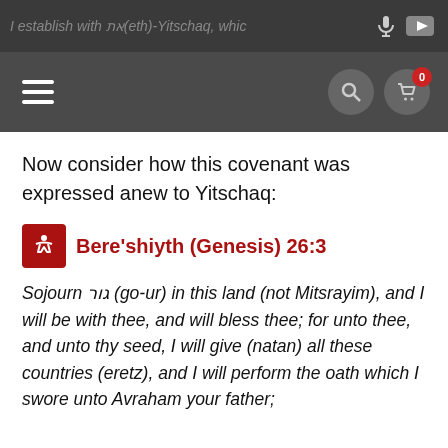I establish with  את(eth)-Yitschaq, which
Now consider how this covenant was expressed anew to Yitschaq:
Bere'shiyth (Genesis) 26:3
Sojourn גור (go-ur) in this land (not Mitsrayim), and I will be with thee, and will bless thee; for unto thee, and unto thy seed, I will give (natan) all these countries (eretz), and I will perform the oath which I swore unto Avraham your father;